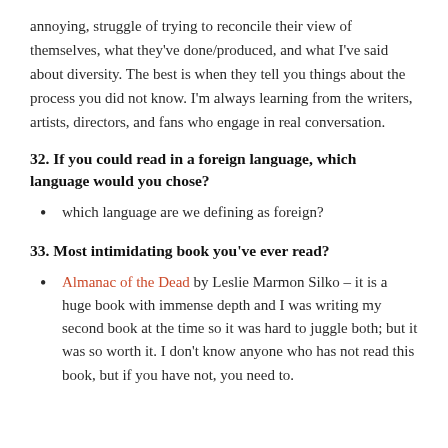annoying, struggle of trying to reconcile their view of themselves, what they've done/produced, and what I've said about diversity. The best is when they tell you things about the process you did not know. I'm always learning from the writers, artists, directors, and fans who engage in real conversation.
32. If you could read in a foreign language, which language would you chose?
which language are we defining as foreign?
33. Most intimidating book you've ever read?
Almanac of the Dead by Leslie Marmon Silko – it is a huge book with immense depth and I was writing my second book at the time so it was hard to juggle both; but it was so worth it. I don't know anyone who has not read this book, but if you have not, you need to.